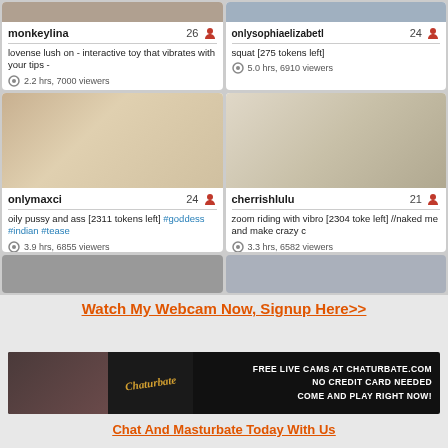[Figure (screenshot): Webcam site grid showing 6 stream cards in 2 columns. Top row (partial): monkeylina age 26, lovense lush on - interactive toy that vibrates with your tips - 2.2 hrs 7000 viewers; onlysophiaelizabeth age 24, squat [275 tokens left] 5.0 hrs 6910 viewers. Middle row: onlymaxci age 24 with room image, oily pussy and ass [2311 tokens left] #goddess #indian #tease 3.9 hrs 6855 viewers; cherrishlulu age 21 with room image, zoom riding with vibro [2304 tokens left] //naked me and make crazy c 3.3 hrs 6582 viewers. Bottom row (partial): two more partially visible cards.]
Watch My Webcam Now, Signup Here>>
[Figure (photo): Chaturbate banner ad: dark background with person photo on left, Chaturbate logo center, text FREE LIVE CAMS AT CHATURBATE.COM NO CREDIT CARD NEEDED COME AND PLAY RIGHT NOW!]
Chat And Masturbate Today With Us